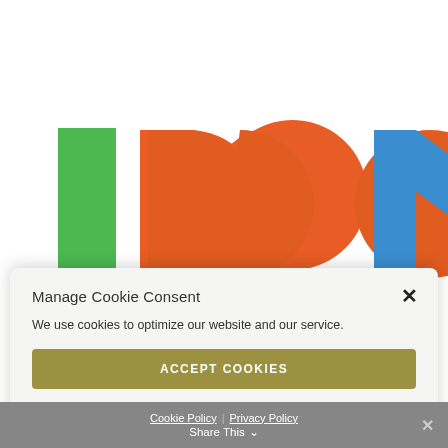[Figure (logo): Colorful logo with large stylized letters: green vertical bar/I shape, orange D and speech bubble/S shape, blue N shape]
Manage Cookie Consent
We use cookies to optimize our website and our service.
ACCEPT COOKIES
DENY
VIEW PREFERENCES
Cookie Policy  Privacy Policy  Share This  ×